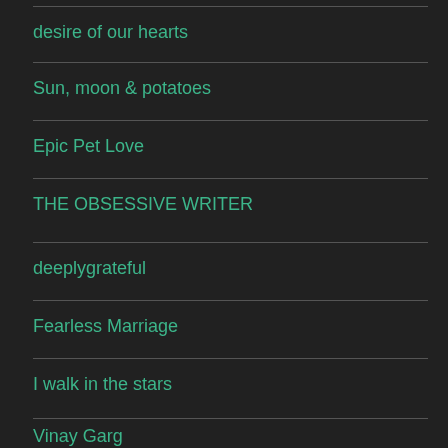desire of our hearts
Sun, moon & potatoes
Epic Pet Love
THE OBSESSIVE WRITER
deeplygrateful
Fearless Marriage
I walk in the stars
Vinay Garg